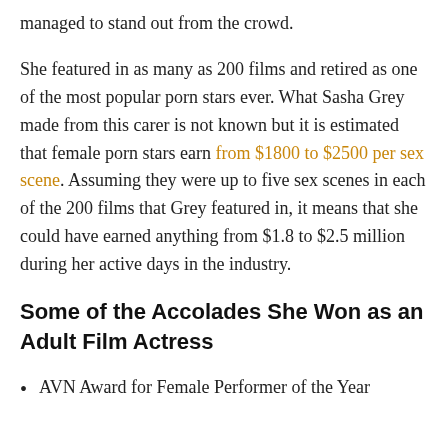managed to stand out from the crowd.
She featured in as many as 200 films and retired as one of the most popular porn stars ever. What Sasha Grey made from this carer is not known but it is estimated that female porn stars earn from $1800 to $2500 per sex scene. Assuming they were up to five sex scenes in each of the 200 films that Grey featured in, it means that she could have earned anything from $1.8 to $2.5 million during her active days in the industry.
Some of the Accolades She Won as an Adult Film Actress
AVN Award for Female Performer of the Year